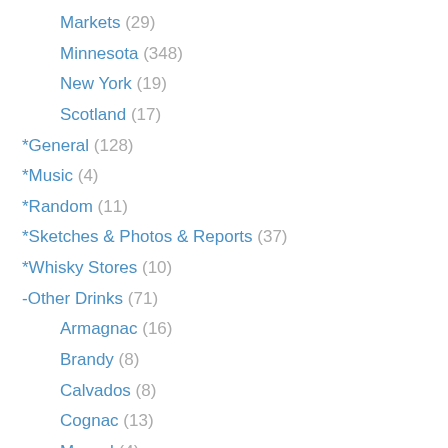Markets (29)
Minnesota (348)
New York (19)
Scotland (17)
*General (128)
*Music (4)
*Random (11)
*Sketches & Photos & Reports (37)
*Whisky Stores (10)
-Other Drinks (71)
Armagnac (16)
Brandy (8)
Calvados (8)
Cognac (13)
Mezcal (4)
Rum (19)
Whisky Cocktails (3)
-Whisky by Rating (1,476)
60-64 points (1)
65-69 points (3)